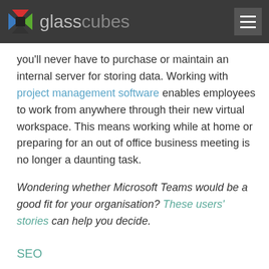glasscubes
you'll never have to purchase or maintain an internal server for storing data. Working with project management software enables employees to work from anywhere through their new virtual workspace. This means working while at home or preparing for an out of office business meeting is no longer a daunting task.
Wondering whether Microsoft Teams would be a good fit for your organisation? These users' stories can help you decide.
SEO